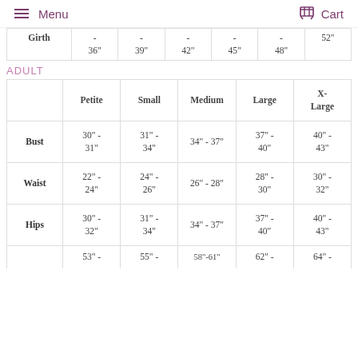Menu   Cart
|  | Petite | Small | Medium | Large | X-Large |
| --- | --- | --- | --- | --- | --- |
| Girth (partial) | - 36" | - 39" | - 42" | - 45" | - 48" | 52" |
|  | Petite | Small | Medium | Large | X-Large |
| Bust | 30" - 31" | 31" - 34" | 34" - 37" | 37" - 40" | 40" - 43" |
| Waist | 22" - 24" | 24" - 26" | 26" - 28" | 28" - 30" | 30" - 32" |
| Hips | 30" - 32" | 31" - 34" | 34" - 37" | 37" - 40" | 40" - 43" |
| (partial) | 53" - | 55" - | 58"-61" | 62" - | 64" - |
ADULT